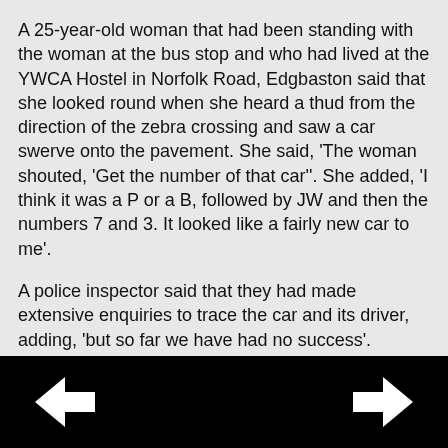A 25-year-old woman that had been standing with the woman at the bus stop and who had lived at the YWCA Hostel in Norfolk Road, Edgbaston said that she looked round when she heard a thud from the direction of the zebra crossing and saw a car swerve onto the pavement. She said, 'The woman shouted, 'Get the number of that car''. She added, 'I think it was a P or a B, followed by JW and then the numbers 7 and 3. It looked like a fairly new car to me'.
A police inspector said that they had made extensive enquiries to trace the car and its driver, adding, 'but so far we have had no success'.
He said, 'The file will be kept open in case anything turns up. We have investigated the registration numbers given by the witnesses in every combination. A great number of drivers have been seen and wherever possible their whereabouts at the time of the accident have been checked. Garages have been visited and the dead woman's clothing has been scientifically examined, but we have had
[Figure (other): Navigation bar with left and right arrow buttons on black background]